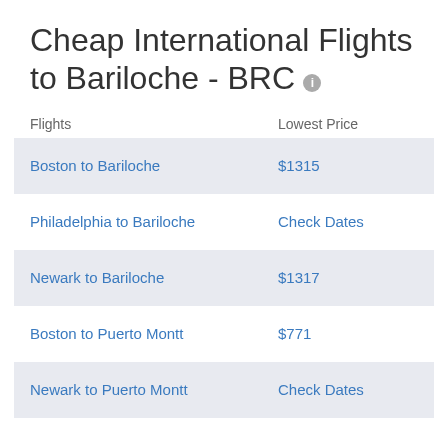Cheap International Flights to Bariloche - BRC
| Flights | Lowest Price |
| --- | --- |
| Boston to Bariloche | $1315 |
| Philadelphia to Bariloche | Check Dates |
| Newark to Bariloche | $1317 |
| Boston to Puerto Montt | $771 |
| Newark to Puerto Montt | Check Dates |